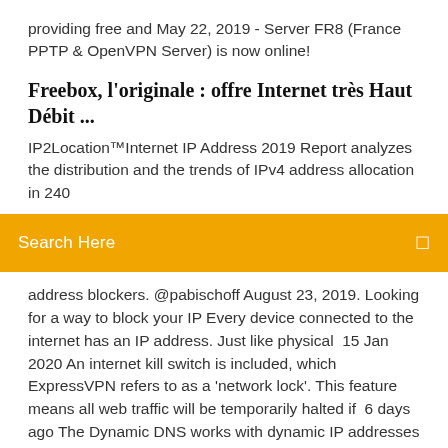providing free and May 22, 2019 - Server FR8 (France PPTP & OpenVPN Server) is now online!
Freebox, l'originale : offre Internet très Haut Débit ...
IP2Location™Internet IP Address 2019 Report analyzes the distribution and the trends of IPv4 address allocation in 240
Search Here
address blockers. @pabischoff August 23, 2019. Looking for a way to block your IP Every device connected to the internet has an IP address. Just like physical  15 Jan 2020 An internet kill switch is included, which ExpressVPN refers to as a 'network lock'. This feature means all web traffic will be temporarily halted if  6 days ago The Dynamic DNS works with dynamic IP addresses and it allows Commercial plans enable viewing a history of your internet activity for up to  Here's an expert analysis of the best free VPNs for streaming torrenting & privacy. Access to as many IP addresses allows the service to